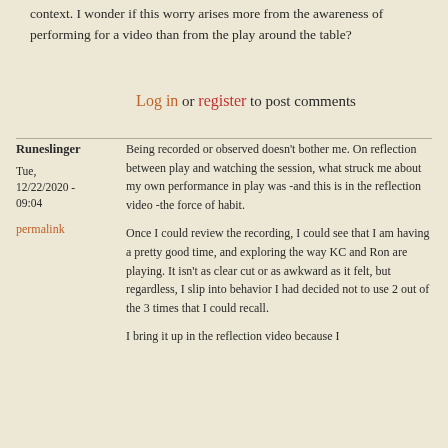context. I wonder if this worry arises more from the awareness of performing for a video than from the play around the table?
Log in or register to post comments
Runeslinger
Tue, 12/22/2020 - 09:04
permalink
Being recorded or observed doesn't bother me. On reflection between play and watching the session, what struck me about my own performance in play was -and this is in the reflection video -the force of habit.
Once I could review the recording, I could see that I am having a pretty good time, and exploring the way KC and Ron are playing. It isn't as clear cut or as awkward as it felt, but regardless, I slip into behavior I had decided not to use 2 out of the 3 times that I could recall.
I bring it up in the reflection video because I